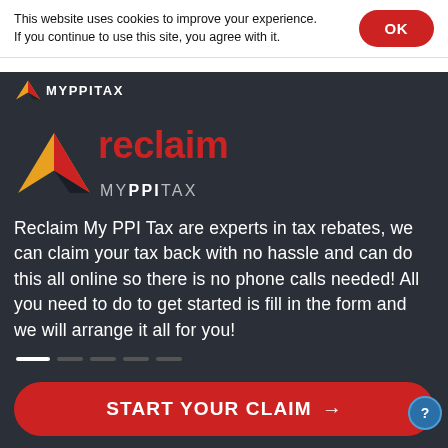This website uses cookies to improve your experience. If you continue to use this site, you agree with it.
[Figure (logo): Reclaim My PPI Tax logo with paper plane graphic in nav strip]
[Figure (logo): Reclaim My PPI Tax main logo with orange/red paper plane and red 'reclaim' text with 'MYPPITAX' below]
Reclaim My PPI Tax are experts in tax rebates, we can claim your tax back with no hassle and can do this all online so there is no phone calls needed! All you need to do to get started is fill in the form and we will arrange it all for you!
START YOUR CLAIM →